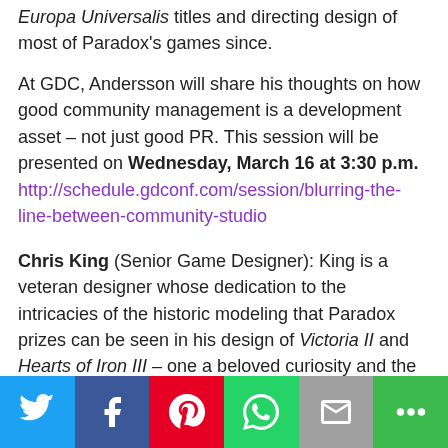Europa Universalis titles and directing design of most of Paradox's games since.
At GDC, Andersson will share his thoughts on how good community management is a development asset – not just good PR. This session will be presented on Wednesday, March 16 at 3:30 p.m.
http://schedule.gdconf.com/session/blurring-the-line-between-community-studio
Chris King (Senior Game Designer): King is a veteran designer whose dedication to the intricacies of the historic modeling that Paradox prizes can be seen in his design of Victoria II and Hearts of Iron III – one a beloved curiosity and the other one of Paradox's best-selling games.